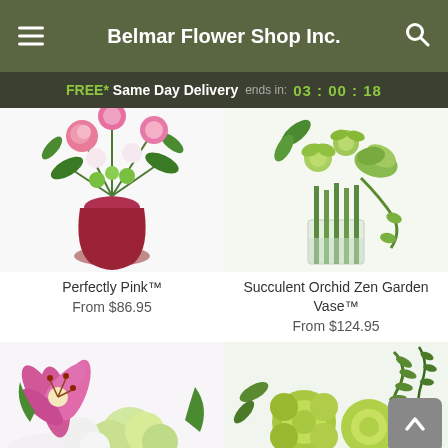Belmar Flower Shop Inc.
FREE* Same Day Delivery ends in: 03:00:18
[Figure (photo): Pink flower arrangement in a red/magenta vase with pink roses, lilies, and green blooms]
Perfectly Pink™
From $86.95
[Figure (photo): Succulent and green orchid zen garden arrangement in a clear glass vase with bamboo stalks]
Succulent Orchid Zen Garden Vase™
From $124.95
[Figure (photo): Pink stargazer lily with green hydrangea arrangement, partially visible at bottom left]
[Figure (photo): Green chrysanthemum and fern arrangement, partially visible at bottom right]